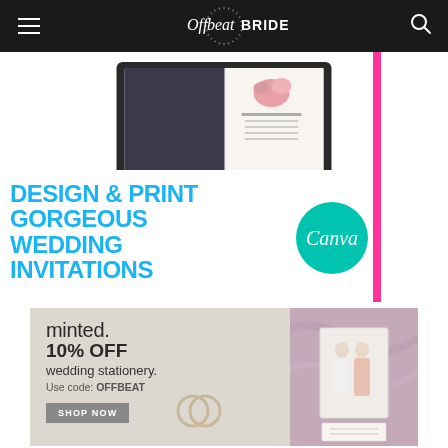Offbeat Bride
[Figure (advertisement): Canva advertisement showing laptop with wedding invitation design, text 'DESIGN & PRINT GORGEOUS WEDDING INVITATIONS' in blue with Canva logo circle, pink vertical bar on right]
[Figure (advertisement): Minted advertisement: 'minted. 10% OFF wedding stationery. Use code: OFFBEAT. SHOP NOW button. Photo of couple on right side with wedding stationery.]